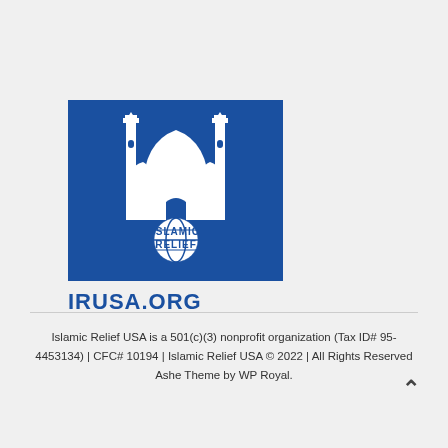[Figure (logo): Islamic Relief USA logo: blue rectangle with white mosque/minaret illustration and text 'ISLAMIC RELIEF' with a globe icon, followed by 'IRUSA.ORG' in bold blue text below]
Islamic Relief USA is a 501(c)(3) nonprofit organization (Tax ID# 95-4453134) | CFC# 10194 | Islamic Relief USA © 2022 | All Rights Reserved
Ashe Theme by WP Royal.